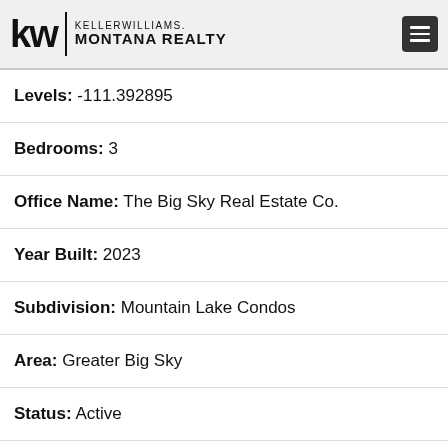Keller Williams Montana Realty
Levels: -111.392895
Bedrooms: 3
Office Name: The Big Sky Real Estate Co.
Year Built: 2023
Subdivision: Mountain Lake Condos
Area: Greater Big Sky
Status: Active